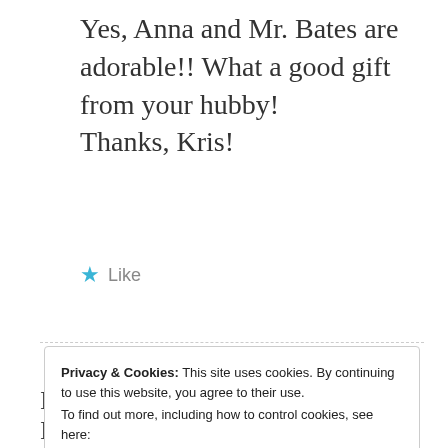Yes, Anna and Mr. Bates are adorable!! What a good gift from your hubby!
Thanks, Kris!
★ Like
Privacy & Cookies: This site uses cookies. By continuing to use this website, you agree to their use.
To find out more, including how to control cookies, see here:
Cookie Policy
Close and accept
I had all 4 wisdom teeth out at once, I